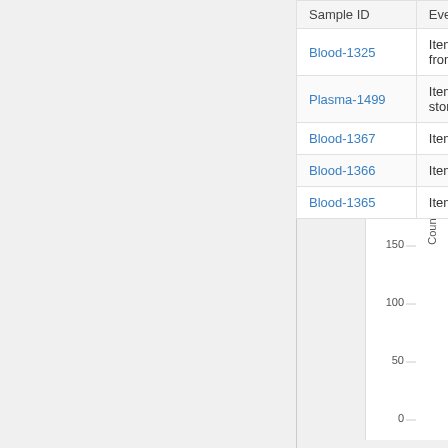| Sample ID | Event | Status |
| --- | --- | --- |
| Blood-1325 | Item discarded from storage | Discarded |
| Plasma-1499 | Item added to storage | In |
| Blood-1367 | Item checked out | Discarded |
| Blood-1366 | Item checked out | Discarded |
| Blood-1365 | Item checked out | Discarded |
[Figure (continuous-plot): Y-axis fragment of a bar/count chart showing Count axis with tick marks at 0, 50, 100, 150, 200, 250, 300, 350]
Freezer List
Building 101 / Hannah Room
Freezer -4C  Active
Main day to day, lab work freezer.
-14°C
Sample T
221 sam